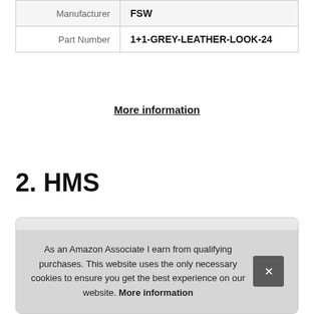| Manufacturer | FSW |
| Part Number | 1+1-GREY-LEATHER-LOOK-24 |
More information
2. HMS
[Figure (photo): Product image showing two dark grey sofa/chair pieces]
As an Amazon Associate I earn from qualifying purchases. This website uses the only necessary cookies to ensure you get the best experience on our website. More information